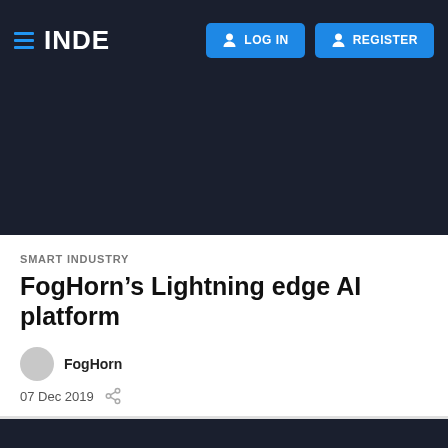INDE | LOG IN | REGISTER
SMART INDUSTRY
FogHorn’s Lightning edge AI platform
FogHorn
07 Dec 2019